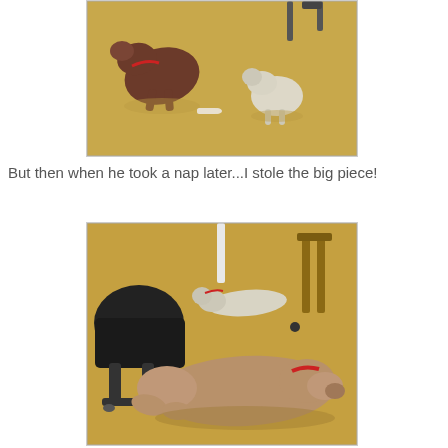[Figure (photo): Two dogs on a yellow/tan carpet floor. A brown/chocolate pit bull-type dog on the left with a bone nearby, and a small white fluffy dog on the right. An office chair is visible in the background.]
But then when he took a nap later...I stole the big piece!
[Figure (photo): Two dogs lying on a yellow/tan carpet floor. A small white dog is lying in the upper middle area. A large brown/tan pit bull-type dog with a red collar is lying in the foreground, sprawled out. A black office chair is on the left side and a wooden stool/chair is visible on the right background.]